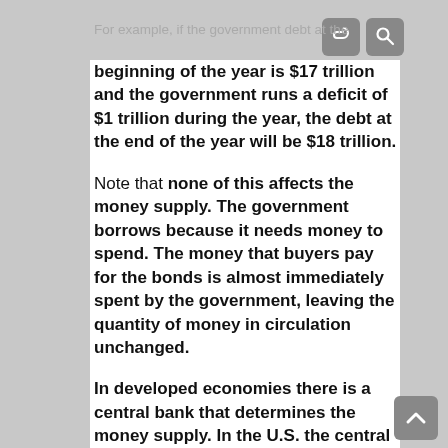For example, if the government debt at the
beginning of the year is $17 trillion and the government runs a deficit of $1 trillion during the year, the debt at the end of the year will be $18 trillion.
Note that none of this affects the money supply. The government borrows because it needs money to spend. The money that buyers pay for the bonds is almost immediately spent by the government, leaving the quantity of money in circulation unchanged.
In developed economies there is a central bank that determines the money supply. In the U.S. the central bank is the Federal Reserve system (“the Fed”). In many European countries the central bank is the European Central Bank (ECB). The central bank attempts to control the